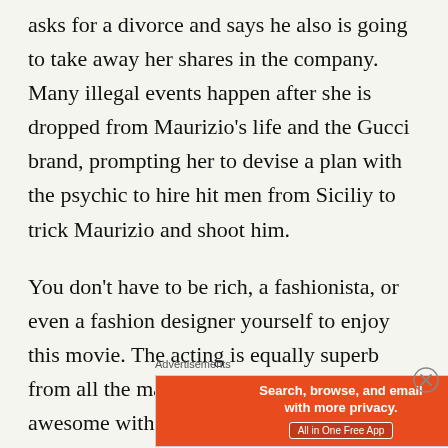asks for a divorce and says he also is going to take away her shares in the company. Many illegal events happen after she is dropped from Maurizio's life and the Gucci brand, prompting her to devise a plan with the psychic to hire hit men from Siciliy to trick Maurizio and shoot him.
You don't have to be rich, a fashionista, or even a fashion designer yourself to enjoy this movie. The acting is equally superb from all the main stars. The soundtrack is awesome with a great mix of 70's, 80's and 90's hits. The costumes and makeup is
Advertisements
[Figure (other): DuckDuckGo advertisement banner with orange left panel reading 'Search, browse, and email with more privacy. All in One Free App' and dark right panel showing DuckDuckGo logo and name.]